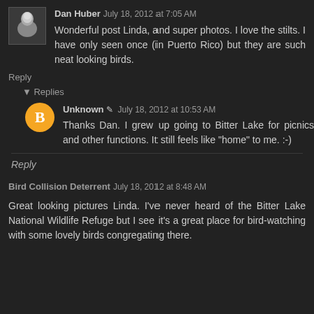Dan Huber  July 18, 2012 at 7:05 AM
Wonderful post Linda, and super photos. I love the stilts. I have only seen once (in Puerto Rico) but they are such neat looking birds.
Reply
▾ Replies
Unknown ✎  July 18, 2012 at 10:53 AM
Thanks Dan. I grew up going to Bitter Lake for picnics and other functions. It still feels like "home" to me. :-)
Reply
Bird Collision Deterrent  July 18, 2012 at 8:48 AM
Great looking pictures Linda. I've never heard of the Bitter Lake National Wildlife Refuge but I see it's a great place for bird-watching with some lovely birds congregating there.